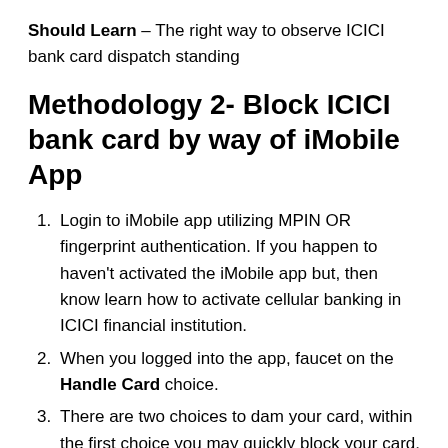Should Learn – The right way to observe ICICI bank card dispatch standing
Methodology 2- Block ICICI bank card by way of iMobile App
Login to iMobile app utilizing MPIN OR fingerprint authentication. If you happen to haven't activated the iMobile app but, then know learn how to activate cellular banking in ICICI financial institution.
When you logged into the app, faucet on the Handle Card choice.
There are two choices to dam your card, within the first choice you may quickly block your card.
To quickly block ICICI bank card faucet on the Temp Block choice from the display.
On the brand new popup choice, you'll be requested –